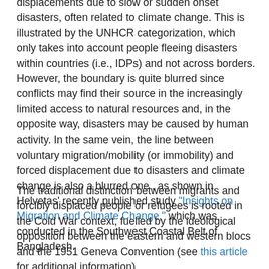displacements due to slow or sudden onset disasters, often related to climate change. This is illustrated by the UNHCR categorization, which only takes into account people fleeing disasters within countries (i.e., IDPs) and not across borders. However, the boundary is quite blurred since conflicts may find their source in the increasingly limited access to natural resources and, in the opposite way, disasters may be caused by human activity. In the same vein, the line between voluntary migration/mobility (or immobility) and forced displacement due to disasters and climate change is also a blurred one , as shown in Helvetas' recently published study "Insights on Migration and Climate Change," which was conducted in the Southwest Coastal Belt of Bangladesh.
The traditional distinction between migrants and forcibly displaced people or refugees is rooted in the Cold War context, fuelled by the ideological opposition between the eastern and western blocs and the 1951 Geneva Convention (see this article for additional information).